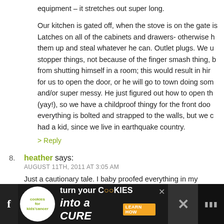equipment – it stretches out super long.
Our kitchen is gated off, when the stove is on the gate is Latches on all of the cabinets and drawers- otherwise h them up and steal whatever he can. Outlet plugs. We u stopper things, not because of the finger smash thing, b from shutting himself in a room; this would result in hir for us to open the door, or he will go to town doing som and/or super messy. He just figured out how to open th (yay!), so we have a childproof thingy for the front doo everything is bolted and strapped to the walls, but we c had a kid, since we live in earthquake country.
> Reply
8. heather says: AUGUST 11TH, 2011 AT 3:05 AM Just a cautionary tale. I baby proofed everything in my leaving the ex. I had gates, locked, cupboard door prote One day, I made a foolish decision to do a load of laund
[Figure (advertisement): Cookies for Kids Cancer advertisement banner: 'turn your COOKIES into a CURE LEARN HOW']